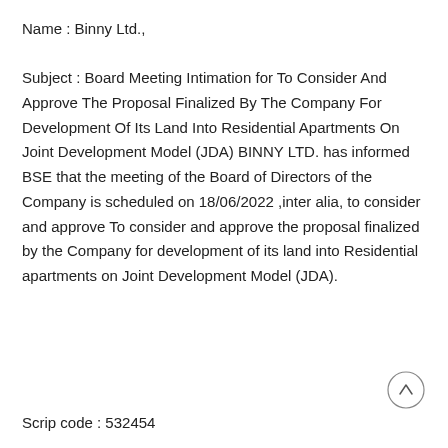Name : Binny Ltd.,
Subject : Board Meeting Intimation for To Consider And Approve The Proposal Finalized By The Company For Development Of Its Land Into Residential Apartments On Joint Development Model (JDA) BINNY LTD. has informed BSE that the meeting of the Board of Directors of the Company is scheduled on 18/06/2022 ,inter alia, to consider and approve To consider and approve the proposal finalized by the Company for development of its land into Residential apartments on Joint Development Model (JDA).
Scrip code : 532454